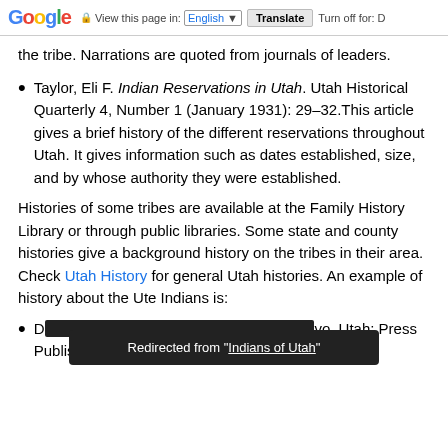Google | View this page in: English | Translate | Turn off for: D
the tribe. Narrations are quoted from journals of leaders.
Taylor, Eli F. Indian Reservations in Utah. Utah Historical Quarterly 4, Number 1 (January 1931): 29–32. This article gives a brief history of the different reservations throughout Utah. It gives information such as dates established, size, and by whose authority they were established.
Histories of some tribes are available at the Family History Library or through public libraries. Some state and county histories give a background history on the tribes in their area. Check Utah History for general Utah histories. An example of history about the Ute Indians is:
D[...] vo, Utah: Press Publishing Limited, 1983. This source
Redirected from "Indians of Utah"